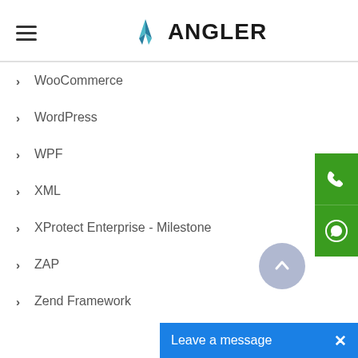ANGLER
WooCommerce
WordPress
WPF
XML
XProtect Enterprise - Milestone
ZAP
Zend Framework
[Figure (other): Green phone call button]
[Figure (other): Green WhatsApp button]
[Figure (other): Scroll to top button (grey circle with up arrow)]
Leave a message